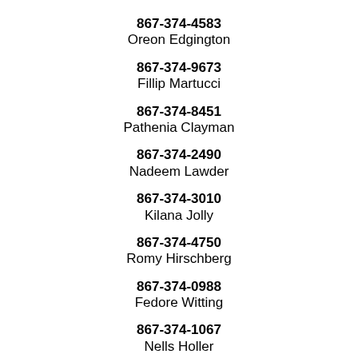867-374-4583
Oreon Edgington
867-374-9673
Fillip Martucci
867-374-8451
Pathenia Clayman
867-374-2490
Nadeem Lawder
867-374-3010
Kilana Jolly
867-374-4750
Romy Hirschberg
867-374-0988
Fedore Witting
867-374-1067
Nells Holler
867-374-5293